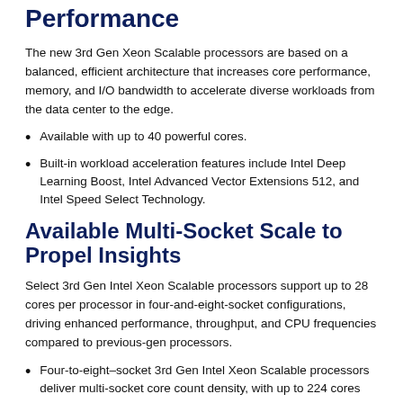Performance
The new 3rd Gen Xeon Scalable processors are based on a balanced, efficient architecture that increases core performance, memory, and I/O bandwidth to accelerate diverse workloads from the data center to the edge.
Available with up to 40 powerful cores.
Built-in workload acceleration features include Intel Deep Learning Boost, Intel Advanced Vector Extensions 512, and Intel Speed Select Technology.
Available Multi-Socket Scale to Propel Insights
Select 3rd Gen Intel Xeon Scalable processors support up to 28 cores per processor in four-and-eight-socket configurations, driving enhanced performance, throughput, and CPU frequencies compared to previous-gen processors.
Four-to-eight–socket 3rd Gen Intel Xeon Scalable processors deliver multi-socket core count density, with up to 224 cores